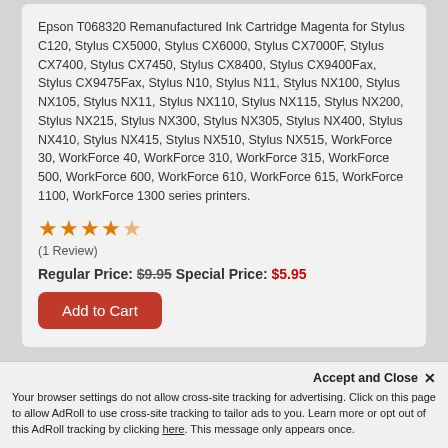Epson T068320 Remanufactured Ink Cartridge Magenta for Stylus C120, Stylus CX5000, Stylus CX6000, Stylus CX7000F, Stylus CX7400, Stylus CX7450, Stylus CX8400, Stylus CX9400Fax, Stylus CX9475Fax, Stylus N10, Stylus N11, Stylus NX100, Stylus NX105, Stylus NX11, Stylus NX110, Stylus NX115, Stylus NX200, Stylus NX215, Stylus NX300, Stylus NX305, Stylus NX400, Stylus NX410, Stylus NX415, Stylus NX510, Stylus NX515, WorkForce 30, WorkForce 40, WorkForce 310, WorkForce 315, WorkForce 500, WorkForce 600, WorkForce 610, WorkForce 615, WorkForce 1100, WorkForce 1300 series printers.
[Figure (other): Five orange stars rating]
(1 Review)
Regular Price: $9.95 Special Price: $5.95
Add to Cart
Accept and Close ×
Your browser settings do not allow cross-site tracking for advertising. Click on this page to allow AdRoll to use cross-site tracking to tailor ads to you. Learn more or opt out of this AdRoll tracking by clicking here. This message only appears once.